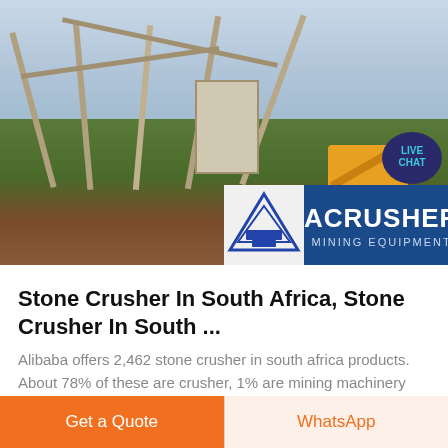[Figure (photo): Photo of a stone crusher/mining site under construction in South Africa, with metal scaffolding, a crusher machine, and an excavator visible. An ACRUSHER Mining Equipment logo overlay appears at the bottom of the image. A 'LIVE CHAT' speech bubble appears at the top right.]
Stone Crusher In South Africa, Stone Crusher In South ...
Alibaba offers 2,462 stone crusher in south africa products. About 78% of these are crusher, 1% are mining machinery parts. A wide variety of stone crusher in south africa options are available to you, such as jaw crusher, cone crusher, and
Get a Quote
WhatsApp